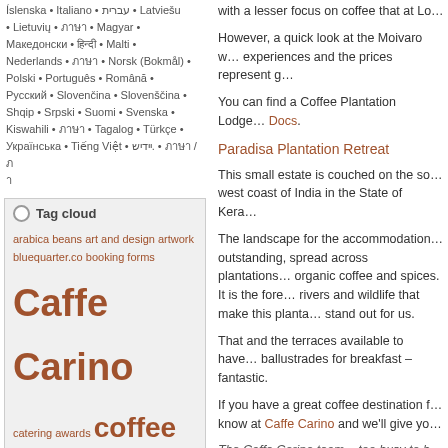Íslenska • Italiano • עברית • Latviešu • Lietuvių • ภาษา • Magyar • Македонски • हिन्दी • Malti • Nederlands • ภาษา • Norsk (Bokmål) • Polski • Português • Română • Русский • Slovenčina • Slovenščina • Shqip • Srpski • Suomi • Svenska • Kiswahili • ภาษา • Tagalog • Türkçe • Українська • Tiếng Việt • יידיש. • ภาษา / ภาษา
Tag cloud
arabica beans
art and design
artwork
bluequarter.co
booking forms
Caffe Carino
catering awards
coffee
coffee cups
coffee events
coffee retailing
customer support
design
estate vacation
events
graphic design
graphics
gull wing
holiday
Java
jfc yorkshire
Kerala
languages of coffee
lofgotype logo design
marketing
media
mobile
with a lesser focus on coffee that at Lo…
However, a quick look at the Moivaro w… experiences and the prices represent g…
You can find a Coffee Plantation Lodge… Docs.
Paradisa Plantation Retreat
This small estate is couched on the so… west coast of India in the State of Kera…
The landscape for the accommodation… outstanding, spread across plantations… organic coffee and spices. It is the fore… rivers and wildlife that make this planta… stand out for us.
That and the terraces available to have… ballustrades for breakfast – fantastic.
If you have a great coffee destination f… know at Caffe Carino and we'll give yo…
The Caffe Carino team – too busy to h…
Posted in coffee, coffee holidays, Mark… estate vacation, holiday, Java, Kerala, … Comments Closed